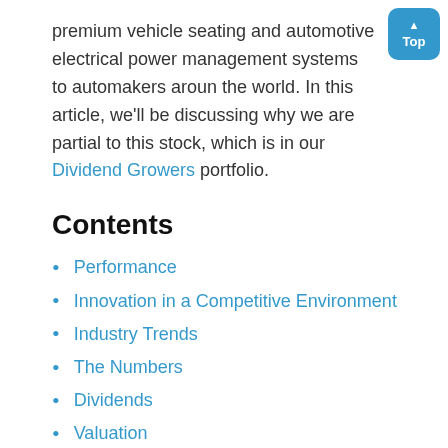premium vehicle seating and automotive electrical power management systems to automakers around the world. In this article, we'll be discussing why we are partial to this stock, which is in our Dividend Growers portfolio.
Contents
Performance
Innovation in a Competitive Environment
Industry Trends
The Numbers
Dividends
Valuation
Final Thoughts